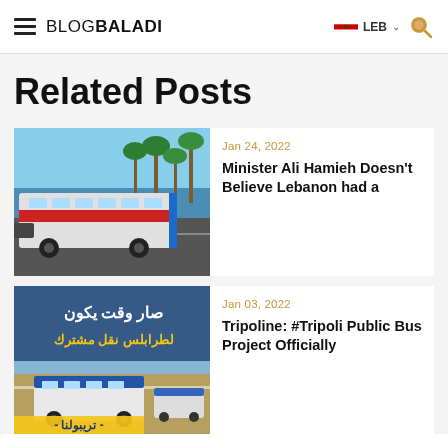BLOGBALADI | LEB
Related Posts
[Figure (photo): A white and red public bus parked on a coastal road with palm trees and sea in the background]
Jan 24, 2022
Minister Ali Hamieh Doesn't Believe Lebanon had a
[Figure (photo): Arabic text promotional image for Tripoline Tripoli public bus project with buses on a road]
Jan 03, 2022
Tripoline: #Tripoli Public Bus Project Officially